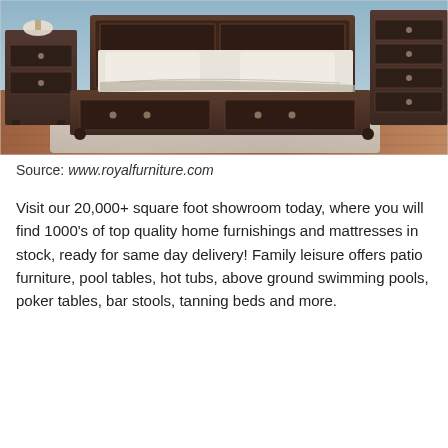[Figure (photo): Bedroom furniture set showing a dark wood king bed with storage drawers, matching nightstand on the left, and large dresser on the right, set on a light area rug over hardwood flooring.]
Source: www.royalfurniture.com
Visit our 20,000+ square foot showroom today, where you will find 1000's of top quality home furnishings and mattresses in stock, ready for same day delivery! Family leisure offers patio furniture, pool tables, hot tubs, above ground swimming pools, poker tables, bar stools, tanning beds and more.